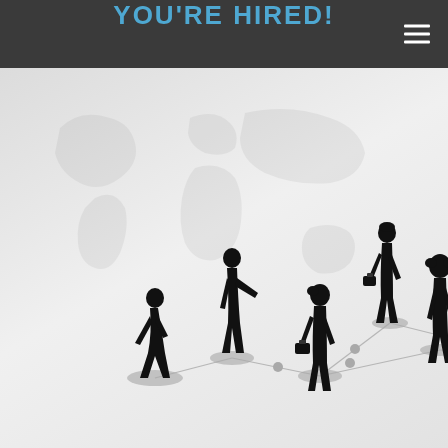YOU'RE HIRED!
[Figure (illustration): Business networking illustration showing seven black silhouette figures of professionals standing on grey circular platforms, connected by lines on a white floor, with a faint world map in the background. The scene represents professional networking or employment.]